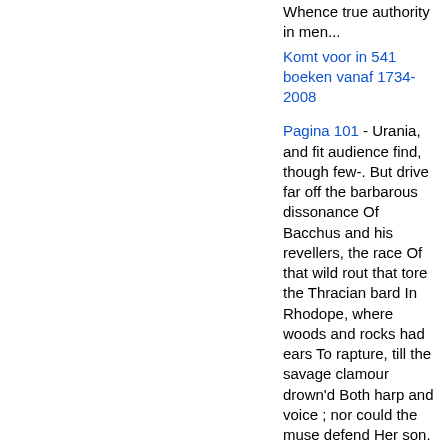Whence true authority in men...
Komt voor in 541 boeken vanaf 1734-2008
Pagina 101 - Urania, and fit audience find, though few-. But drive far off the barbarous dissonance Of Bacchus and his revellers, the race Of that wild rout that tore the Thracian bard In Rhodope, where woods and rocks had ears To rapture, till the savage clamour drown'd Both harp and voice ; nor could the muse defend Her son.
Komt voor in 519 boeken vanaf 1705-2008